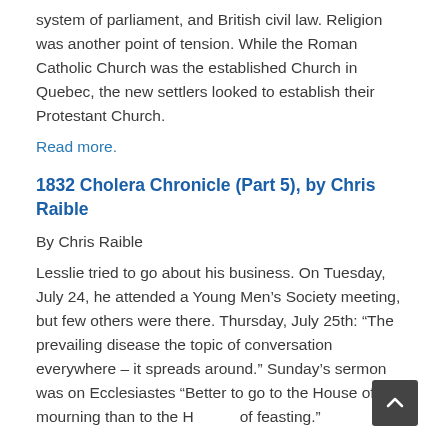system of parliament, and British civil law. Religion was another point of tension. While the Roman Catholic Church was the established Church in Quebec, the new settlers looked to establish their Protestant Church.
Read more.
1832 Cholera Chronicle (Part 5), by Chris Raible
By Chris Raible
Lesslie tried to go about his business. On Tuesday, July 24, he attended a Young Men's Society meeting, but few others were there. Thursday, July 25th: “The prevailing disease the topic of conversation everywhere – it spreads around.” Sunday’s sermon was on Ecclesiastes “Better to go to the House of mourning than to the House of feasting.”